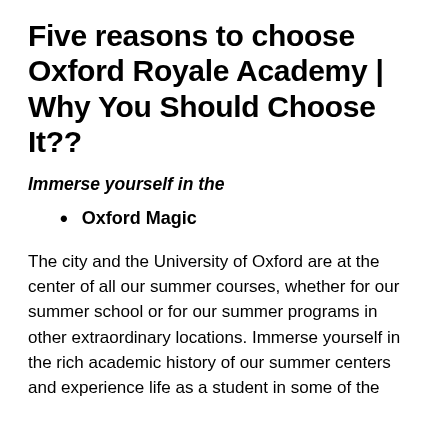Five reasons to choose Oxford Royale Academy | Why You Should Choose It??
Immerse yourself in the
Oxford Magic
The city and the University of Oxford are at the center of all our summer courses, whether for our summer school or for our summer programs in other extraordinary locations. Immerse yourself in the rich academic history of our summer centers and experience life as a student in some of the